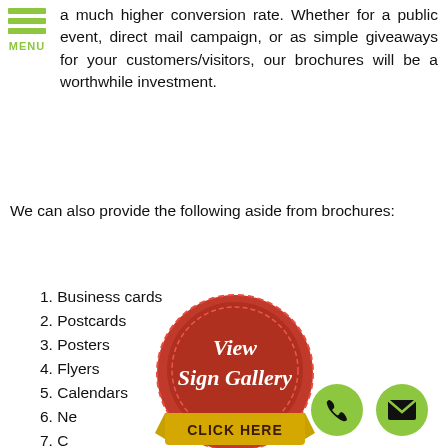MENU
a much higher conversion rate. Whether for a public event, direct mail campaign, or as simple giveaways for your customers/visitors, our brochures will be a worthwhile investment.
We can also provide the following aside from brochures:
1. Business cards
2. Postcards
3. Posters
4. Flyers
5. Calendars
6. Newsletters
7. Catalogues
8. Menus
9. Stickers
10. Letterheads and envelopes
11. Uniforms
12. Promotional items
[Figure (illustration): Red circular badge/seal with dashed border, reading 'View Sign Gallery' in white italic script, with a gold banner below reading 'CLICK HERE']